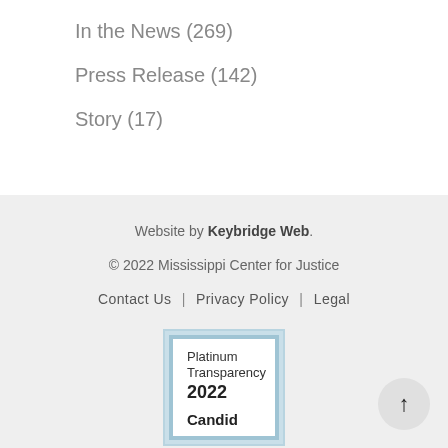In the News (269)
Press Release (142)
Story (17)
Website by Keybridge Web.
© 2022 Mississippi Center for Justice
Contact Us  |  Privacy Policy  |  Legal
[Figure (other): Platinum Transparency 2022 Candid badge with light blue border]
[Figure (other): Scroll to top button (arrow up in circle)]